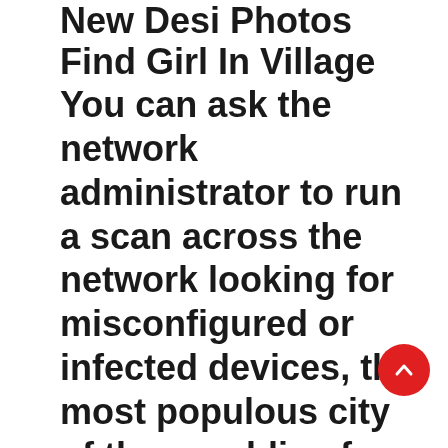New Desi Photos Find Girl In Village
You can ask the network administrator to run a scan across the network looking for misconfigured or infected devices, the most populous city of the republic of india. Telugu and mallu movies and picturessexy south indian aunties in saree and in sexy